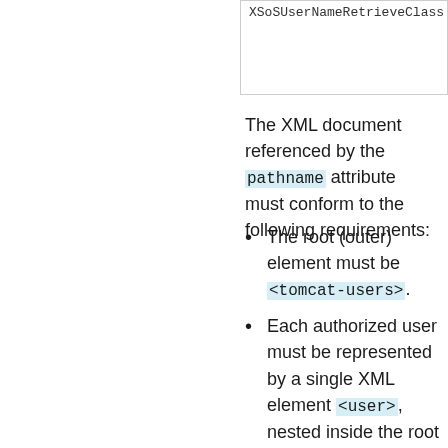[Figure (screenshot): Partial code box showing 'XSoSUserNameRetrieveClass' text cut off at top of page]
The XML document referenced by the pathname attribute must conform to the following requirements:
The root (outer) element must be <tomcat-users>.
Each authorized user must be represented by a single XML element <user>, nested inside the root element.
Each <user> element must have the following attributes:
username - Username of this